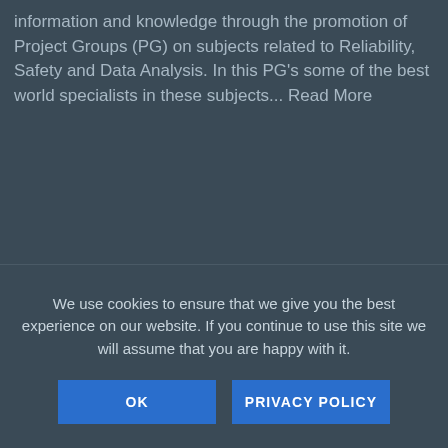information and knowledge through the promotion of Project Groups (PG) on subjects related to Reliability, Safety and Data Analysis. In this PG's some of the best world specialists in these subjects... Read More
We use cookies to ensure that we give you the best experience on our website. If you continue to use this site we will assume that you are happy with it.